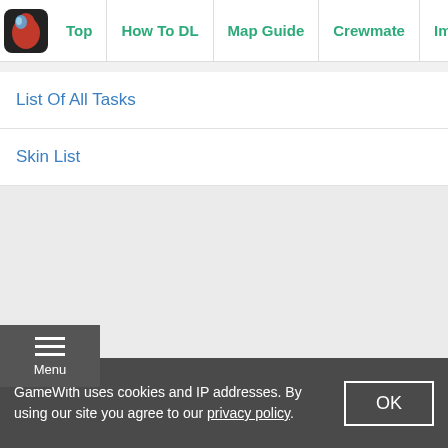Top | How To DL | Map Guide | Crewmate | Imposter
List Of All Tasks
Skin List
[Figure (screenshot): Gray empty content area with a Menu button (hamburger icon) on the left side]
GameWith uses cookies and IP addresses. By using our site you agree to our privacy policy.